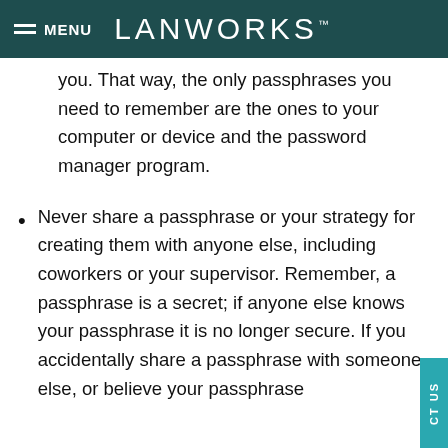MENU  LANWORKS™
you. That way, the only passphrases you need to remember are the ones to your computer or device and the password manager program.
Never share a passphrase or your strategy for creating them with anyone else, including coworkers or your supervisor. Remember, a passphrase is a secret; if anyone else knows your passphrase it is no longer secure. If you accidentally share a passphrase with someone else, or believe your passphrase